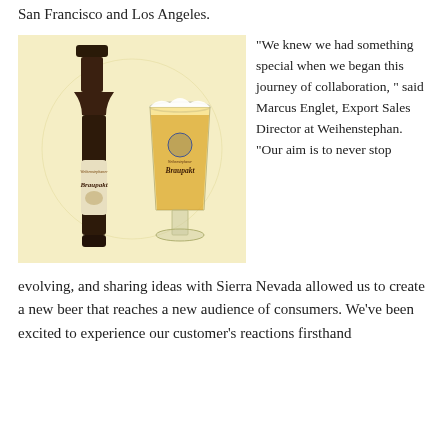San Francisco and Los Angeles.
[Figure (photo): Photo of a Weihenstephaner Braupakt beer bottle next to a Braupakt branded beer glass filled with golden lager, on a light beige background.]
“We knew we had something special when we began this journey of collaboration,” said Marcus Englet, Export Sales Director at Weihenstephan. “Our aim is to never stop evolving, and sharing ideas with Sierra Nevada allowed us to create a new beer that reaches a new audience of consumers. We’ve been excited to experience our customer’s reactions firsthand